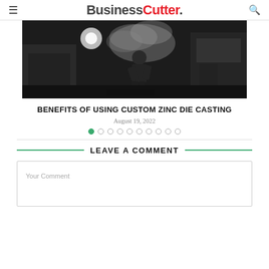BusinessCutter.
[Figure (photo): Dark industrial scene showing a worker in a factory environment with smoke or steam rising, possibly in a metal casting or welding facility.]
BENEFITS OF USING CUSTOM ZINC DIE CASTING
August 19, 2022
Carousel navigation dots: 1 active, 9 inactive
LEAVE A COMMENT
Your Comment